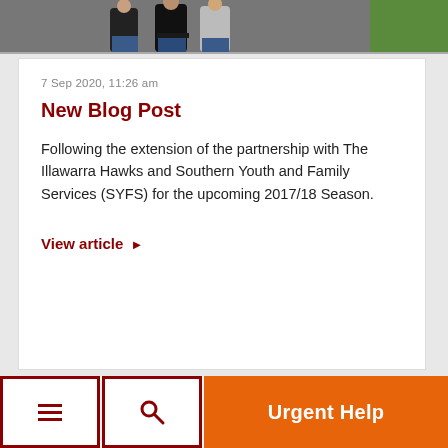[Figure (photo): Partial photo of group of people standing together, cropped at top]
7 Sep 2020, 11:26 am
New Blog Post
Following the extension of the partnership with The Illawarra Hawks and Southern Youth and Family Services (SYFS) for the upcoming 2017/18 Season.
View article ▶
You're on page  6  of 6
Urgent Help